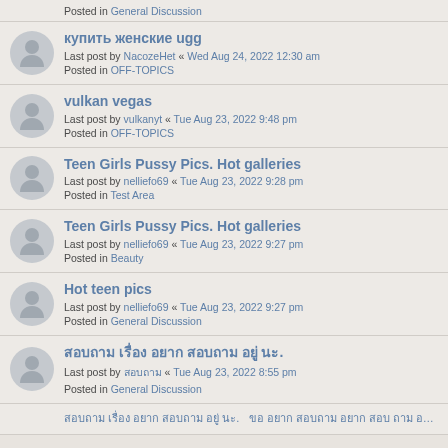Posted in General Discussion
купить женские ugg
Last post by NacozeHet « Wed Aug 24, 2022 12:30 am
Posted in OFF-TOPICS
vulkan vegas
Last post by vulkanyt « Tue Aug 23, 2022 9:48 pm
Posted in OFF-TOPICS
Teen Girls Pussy Pics. Hot galleries
Last post by nelliefo69 « Tue Aug 23, 2022 9:28 pm
Posted in Test Area
Teen Girls Pussy Pics. Hot galleries
Last post by nelliefo69 « Tue Aug 23, 2022 9:27 pm
Posted in Beauty
Hot teen pics
Last post by nelliefo69 « Tue Aug 23, 2022 9:27 pm
Posted in General Discussion
สอบถาม เรื่อง อยาก สอบถาม อยู่ นะ.
Last post by สอบถาม « Tue Aug 23, 2022 8:55 pm
Posted in General Discussion
(partial last item — truncated)